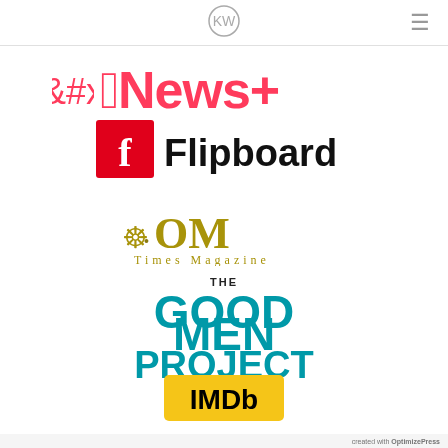KW logo / navigation header
[Figure (logo): Apple News+ logo in pink/red]
[Figure (logo): Flipboard logo with red square icon and black text]
[Figure (logo): OM Times Magazine logo in gold/olive]
[Figure (logo): The Good Men Project logo in teal/blue]
[Figure (logo): IMDb logo on yellow background]
[Figure (photo): Bottom section with stacked photo thumbnails and OptimizePress credit]